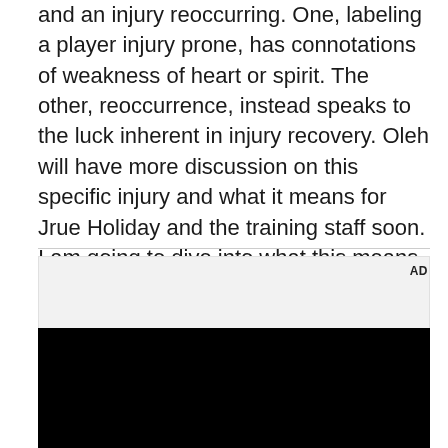and an injury reoccurring. One, labeling a player injury prone, has connotations of weakness of heart or spirit. The other, reoccurrence, instead speaks to the luck inherent in injury recovery. Oleh will have more discussion on this specific injury and what it means for Jrue Holiday and the training staff soon. I am going to dive into what this means for the Pelicans as the trade deadline approaches.
[Figure (other): Advertisement placeholder box with 'AD' label in upper right corner, light gray background, followed by a black rectangle below]